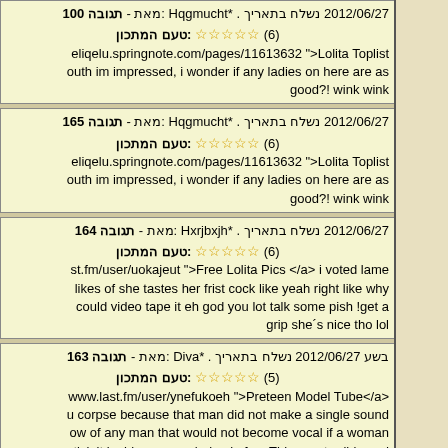תגובה 100 - מאת: Hqgmucht. נשלח בתאריך 2012/06/27 | טעם המתכון: ☆☆☆☆☆ (6) | eliqelu.springnote.com/pages/11613632 >Lolita Toplist outh im impressed, i wonder if any ladies on here are as good?! wink wink
תגובה 165 - מאת: Hqgmucht*. נשלח בתאריך 2012/06/27 | טעם המתכון: ☆☆☆☆☆ (6) | eliqelu.springnote.com/pages/11613632 >Lolita Toplist outh im impressed, i wonder if any ladies on here are as good?! wink wink
תגובה 164 - מאת: Hxrjbxjh*. נשלח בתאריך 2012/06/27 | טעם המתכון: ☆☆☆☆☆ (6) | st.fm/user/uokajeut >Free Lolita Pics </a> i voted lame likes of she tastes her frist cock like yeah right like why could video tape it eh god you lot talk some pish !get a grip she´s nice tho lol
תגובה 163 - מאת: Diva*. נשלח בתאריך 2012/06/27 בשע | טעם המתכון: ☆☆☆☆☆ (5) | www.last.fm/user/ynefukoeh >Preteen Model Tube</a> u corpse because that man did not make a single sound ow of any man that would not become vocal if a woman stick it i n his pee pee hole...lmfao. This was terrible and unrealistic
תגובה 162 - מאת: Nicholas*. נשלח בתאריך 2012/06/27 | טעם המתכון: ☆☆☆☆☆ (5) | /akoimoolu.springnote.com/pages/11611892 >Preteen